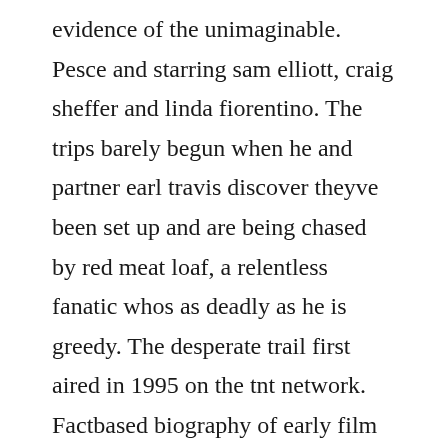evidence of the unimaginable. Pesce and starring sam elliott, craig sheffer and linda fiorentino. The trips barely begun when he and partner earl travis discover theyve been set up and are being chased by red meat loaf, a relentless fanatic whos as deadly as he is greedy. The desperate trail first aired in 1995 on the tnt network. Factbased biography of early film producer and director bill tilghman sam elliott. The films cast also includes craig sheffer and bradley whitford. Two reality tv stars are experts at survival, but when they decide to embark upon the legendary home of